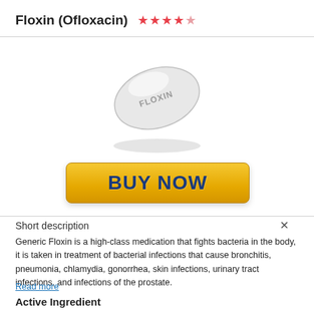Floxin (Ofloxacin) ★★★★☆
[Figure (photo): White oval pill/tablet with FLOXIN embossed on it, shown at an angle against white background]
[Figure (other): Yellow gradient BUY NOW button with dark blue bold text]
Short description
Generic Floxin is a high-class medication that fights bacteria in the body, it is taken in treatment of bacterial infections that cause bronchitis, pneumonia, chlamydia, gonorrhea, skin infections, urinary tract infections, and infections of the prostate.
Read more
Active Ingredient